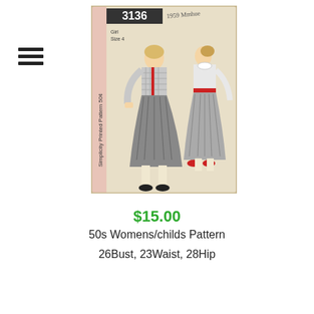[Figure (photo): Vintage Simplicity printed sewing pattern #3136, Girl Size 4, 50 cents. Shows two girls wearing matching checked jacket and pleated skirt outfits. Pattern envelope is aged/yellowed with handwritten note at top.]
$15.00
50s Womens/childs Pattern
26Bust, 23Waist, 28Hip